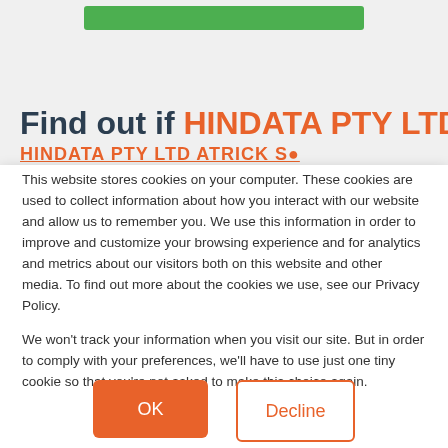[Figure (other): Green button bar at top of page]
Find out if HINDATA PTY LTD
HINDATA PTY LTD ... (partially obscured)
This website stores cookies on your computer. These cookies are used to collect information about how you interact with our website and allow us to remember you. We use this information in order to improve and customize your browsing experience and for analytics and metrics about our visitors both on this website and other media. To find out more about the cookies we use, see our Privacy Policy.

We won't track your information when you visit our site. But in order to comply with your preferences, we'll have to use just one tiny cookie so that you're not asked to make this choice again.
OK
Decline